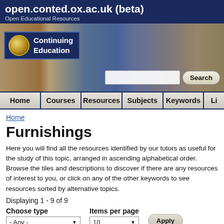open.conted.ox.ac.uk (beta)
Open Educational Resources
[Figure (screenshot): University of Oxford Continuing Education banner with logo box showing 'Continuing Education' text, decorative images of sculptures and historical paintings, and a search bar with 'Search' button]
Home | Courses | Resources | Subjects | Keywords | Li...
Home
Furnishings
Here you will find all the resources identified by our tutors as useful for the study of this topic, arranged in ascending alphabetical order. Browse the tiles and descriptions to discover if there are any resources of interest to you, or click on any of the other keywords to see resources sorted by alternative topics.
Displaying 1 - 9 of 9
Choose type
- Any -
Items per page
10
Apply